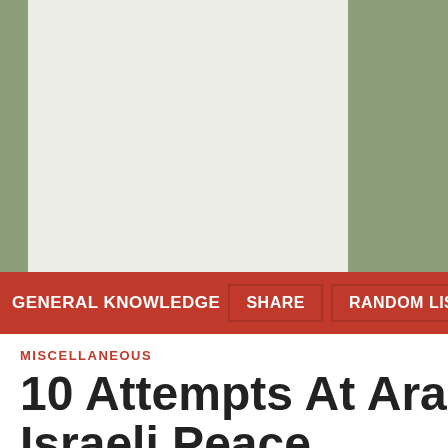[Figure (photo): Large image placeholder area with light greenish-white background, set against a sage green background on the right side]
GENERAL KNOWLEDGE   SHARE   RANDOM LIST
MISCELLANEOUS
10 Attempts At Ara- Israeli Peace